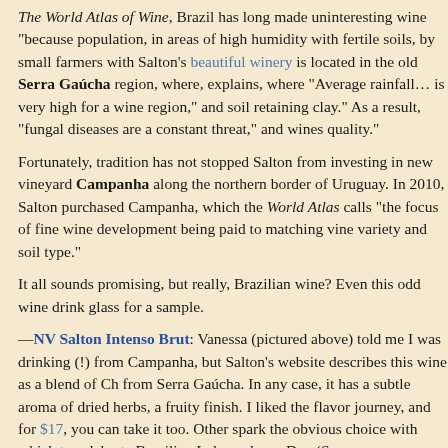The World Atlas of Wine, Brazil has long made uninteresting wine "because population, in areas of high humidity with fertile soils, by small farmers with Salton's beautiful winery is located in the old Serra Gaúcha region, where, explains, where "Average rainfall… is very high for a wine region," and soil retaining clay." As a result, "fungal diseases are a constant threat," and wines quality."
Fortunately, tradition has not stopped Salton from investing in new vineyard Campanha along the northern border of Uruguay. In 2010, Salton purchased Campanha, which the World Atlas calls "the focus of fine wine development being paid to matching vine variety and soil type."
It all sounds promising, but really, Brazilian wine? Even this odd wine drink glass for a sample.
—NV Salton Intenso Brut: Vanessa (pictured above) told me I was drinking (!) from Campanha, but Salton's website describes this wine as a blend of Ch from Serra Gaúcha. In any case, it has a subtle aroma of dried herbs, a fruity finish. I liked the flavor journey, and for $17, you can take it too. Other spark the obvious choice with which to celebrate Brazilian Independence Day (Sep
—2012 Salton Intenso Cabernet Franc: This restrained but still-powerful w dark-fruit flavors, a perk of white-pepper spice and some balanced tannins o surprised to find out that it came from Campanha. The next wine, however, w
—2012 Salton Intenso Tannat: "This is a 100% Tannat? That's brave," I re possible. I enjoy Tannat in blends, but many of the varietal Tannats I've tried my controversial Tannat post here).
"It's actually really light and elegant," Vanessa replied, smiling despite my l